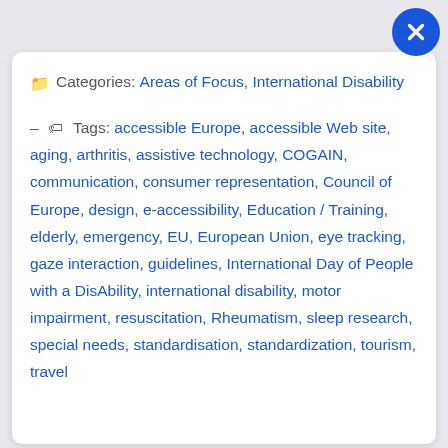Categories: Areas of Focus, International Disability
Tags: accessible Europe, accessible Web site, aging, arthritis, assistive technology, COGAIN, communication, consumer representation, Council of Europe, design, e-accessibility, Education / Training, elderly, emergency, EU, European Union, eye tracking, gaze interaction, guidelines, International Day of People with a DisAbility, international disability, motor impairment, resuscitation, Rheumatism, sleep research, special needs, standardisation, standardization, tourism, travel